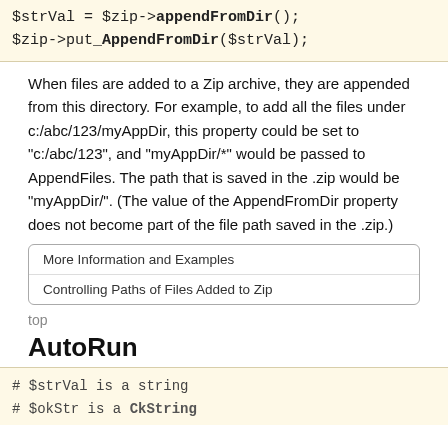$strVal = $zip->appendFromDir();
$zip->put_AppendFromDir($strVal);
When files are added to a Zip archive, they are appended from this directory. For example, to add all the files under c:/abc/123/myAppDir, this property could be set to "c:/abc/123", and "myAppDir/*" would be passed to AppendFiles. The path that is saved in the .zip would be "myAppDir/". (The value of the AppendFromDir property does not become part of the file path saved in the .zip.)
More Information and Examples
Controlling Paths of Files Added to Zip
top
AutoRun
# $strVal is a string
# $okStr is a CkString